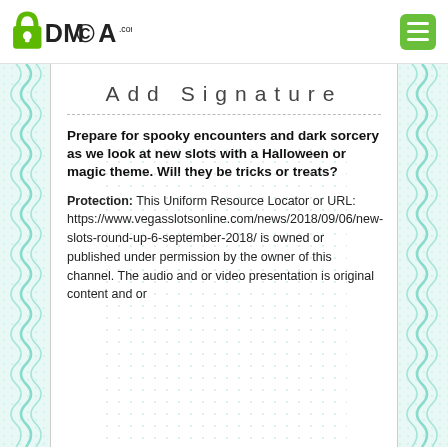[Figure (logo): DMCA.com logo with padlock icon and text]
[Figure (other): Green hamburger menu button]
Add Signature
Prepare for spooky encounters and dark sorcery as we look at new slots with a Halloween or magic theme. Will they be tricks or treats?
Protection: This Uniform Resource Locator or URL: https://www.vegasslotsonline.com/news/2018/09/06/new-slots-round-up-6-september-2018/ is owned or published under permission by the owner of this channel. The audio and or video presentation is original content and or